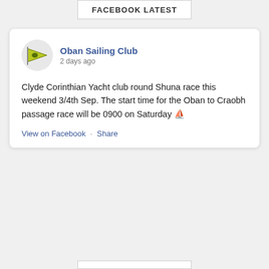FACEBOOK LATEST
[Figure (screenshot): Facebook post card from Oban Sailing Club showing a pennant flag logo, post text about Clyde Corinthian Yacht club round Shuna race, and View on Facebook / Share links]
Clyde Corinthian Yacht club round Shuna race this weekend 3/4th Sep. The start time for the Oban to Craobh passage race will be 0900 on Saturday ⛵
View on Facebook · Share